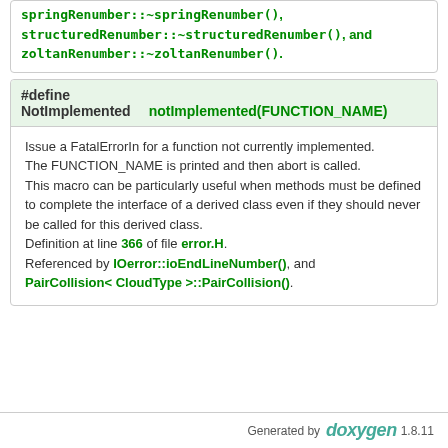springRenumber::~springRenumber(), structuredRenumber::~structuredRenumber(), and zoltanRenumber::~zoltanRenumber().
#define NotImplemented   notImplemented(FUNCTION_NAME)
Issue a FatalErrorIn for a function not currently implemented.
The FUNCTION_NAME is printed and then abort is called.
This macro can be particularly useful when methods must be defined to complete the interface of a derived class even if they should never be called for this derived class.
Definition at line 366 of file error.H.
Referenced by IOerror::ioEndLineNumber(), and PairCollision< CloudType >::PairCollision().
Generated by doxygen 1.8.11